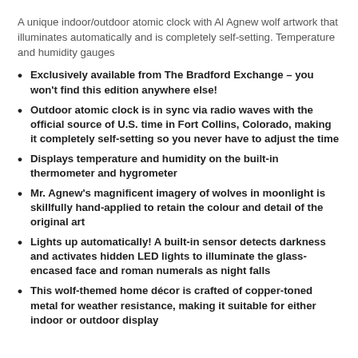A unique indoor/outdoor atomic clock with Al Agnew wolf artwork that illuminates automatically and is completely self-setting. Temperature and humidity gauges
Exclusively available from The Bradford Exchange – you won't find this edition anywhere else!
Outdoor atomic clock is in sync via radio waves with the official source of U.S. time in Fort Collins, Colorado, making it completely self-setting so you never have to adjust the time
Displays temperature and humidity on the built-in thermometer and hygrometer
Mr. Agnew's magnificent imagery of wolves in moonlight is skillfully hand-applied to retain the colour and detail of the original art
Lights up automatically! A built-in sensor detects darkness and activates hidden LED lights to illuminate the glass-encased face and roman numerals as night falls
This wolf-themed home décor is crafted of copper-toned metal for weather resistance, making it suitable for either indoor or outdoor display